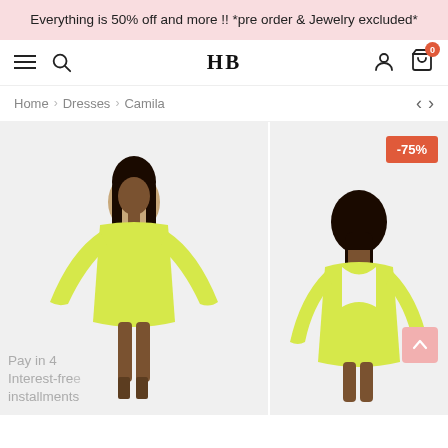Everything is 50% off and more !! *pre order & Jewelry excluded*
[Figure (screenshot): Website navigation bar with hamburger menu, search icon, HB logo, user icon, and cart icon with badge showing 0]
Home > Dresses > Camila
[Figure (photo): Model wearing a bright yellow mini dress with long flowing sleeves, front view]
[Figure (photo): Model wearing a bright yellow mini dress with open back, partial view showing back detail, with -75% discount badge]
Pay in 4 Interest-free installments